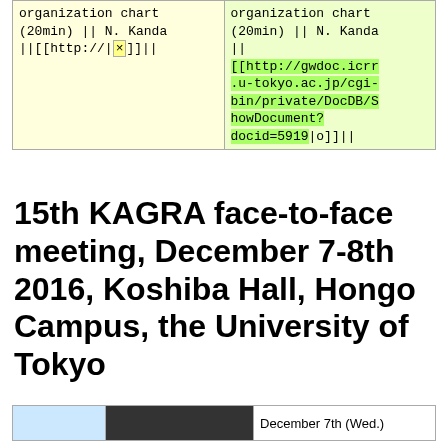| organization chart (20min) || N. Kanda ||[[http://|×]]|| | organization chart (20min) || N. Kanda ||
[[http://gwdoc.icrr.u-tokyo.ac.jp/cgi-bin/private/DocDB/ShowDocument?docid=5919|o]]|| |
15th KAGRA face-to-face meeting, December 7-8th 2016, Koshiba Hall, Hongo Campus, the University of Tokyo
Program
|  |  | December 7th (Wed.) |